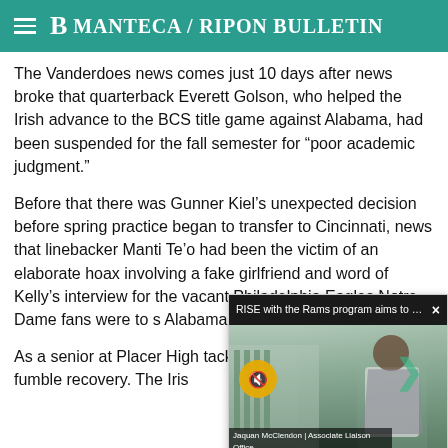Manteca / Ripon Bulletin
The Vanderdoes news comes just 10 days after news broke that quarterback Everett Golson, who helped the Irish advance to the BCS title game against Alabama, had been suspended for the fall semester for “poor academic judgment.”
Before that there was Gunner Kiel’s unexpected decision before spring practice began to transfer to Cincinnati, news that linebacker Manti Te’o had been the victim of an elaborate hoax involving a fake girlfriend and word of Kelly’s interview for the vacant Philadelphia Eagle[s head coaching job if] Notre Dame fans were to s[tay positive about] Alabama in the BCS champ[ionship].
[Figure (screenshot): Video overlay popup titled 'RISE with the Rams program aims to us...' with a video thumbnail showing a presenter outside a stadium and a Rams logo caption bar reading 'Rise with the Rams: Using the power of sports to build community connections to end racism']
As a senior at Placer High[,] tackles, including nine sac[ks and] a fumble recovery. The Iris[h...]